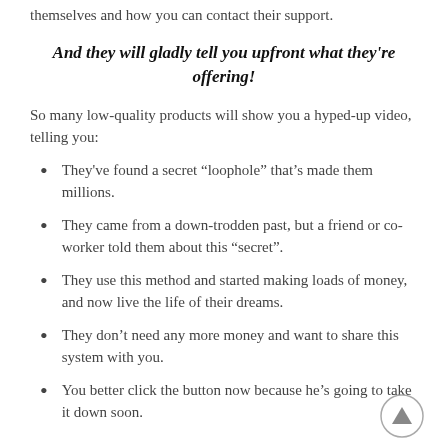themselves and how you can contact their support.
And they will gladly tell you upfront what they're offering!
So many low-quality products will show you a hyped-up video, telling you:
They've found a secret “loophole” that’s made them millions.
They came from a down-trodden past, but a friend or co-worker told them about this “secret”.
They use this method and started making loads of money, and now live the life of their dreams.
They don’t need any more money and want to share this system with you.
You better click the button now because he’s going to take it down soon.